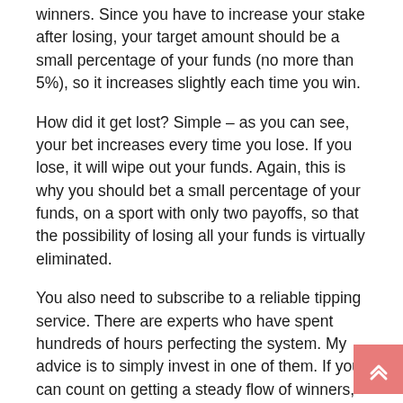winners. Since you have to increase your stake after losing, your target amount should be a small percentage of your funds (no more than 5%), so it increases slightly each time you win.
How did it get lost? Simple – as you can see, your bet increases every time you lose. If you lose, it will wipe out your funds. Again, this is why you should bet a small percentage of your funds, on a sport with only two payoffs, so that the possibility of losing all your funds is virtually eliminated.
You also need to subscribe to a reliable tipping service. There are experts who have spent hundreds of hours perfecting the system. My advice is to simply invest in one of them. If you can count on getting a steady flow of winners, and use this betting plan, you will always finish ahead.